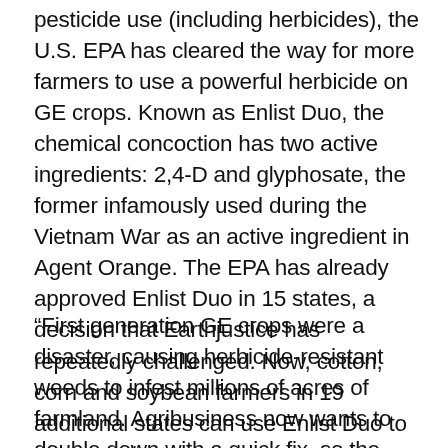pesticide use (including herbicides), the U.S. EPA has cleared the way for more farmers to use a powerful herbicide on GE crops. Known as Enlist Duo, the chemical concoction has two active ingredients: 2,4-D and glyphosate, the former infamously used during the Vietnam War as an active ingredient in Agent Orange. The EPA has already approved Enlist Duo in 15 states, a decision that Earthjustice has repeatedly challenged. Now, cotton, corn and soybean farmers in 19 additional states can use Enlist Duo to treat weeds.
“First generation GE crops were a disaster, causing herbicide-resistant weeds to infest millions of acres of farmland. Agribusiness now wants to double down with a quick fix, so the EPA is approving Enlist Duo, turning a